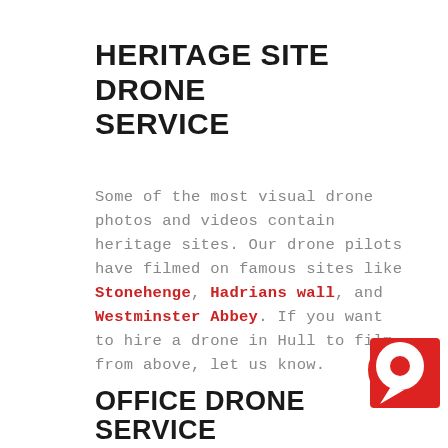HERITAGE SITE DRONE SERVICE
Some of the most visual drone photos and videos contain heritage sites. Our drone pilots have filmed on famous sites like Stonehenge, Hadrians wall, and Westminster Abbey. If you want to hire a drone in Hull to film from above, let us know.
[Figure (logo): Red circular chat/messenger icon with white speech bubble in center, on a red square background in bottom right corner]
OFFICE DRONE SERVICE